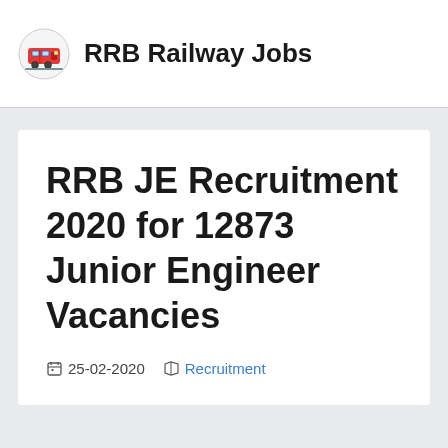RRB Railway Jobs
RRB JE Recruitment 2020 for 12873 Junior Engineer Vacancies
25-02-2020  Recruitment